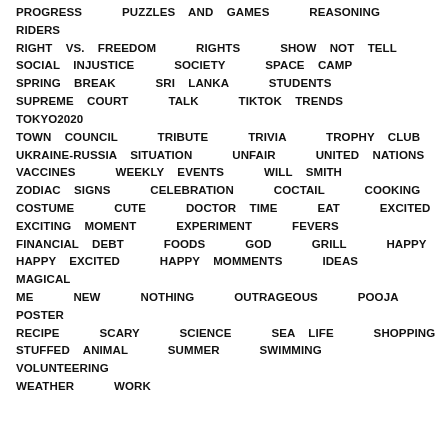PROGRESS   PUZZLES AND GAMES   REASONING   RIDERS   RIGHT VS. FREEDOM   RIGHTS   SHOW NOT TELL   SOCIAL INJUSTICE   SOCIETY   SPACE CAMP   SPRING BREAK   SRI LANKA   STUDENTS   SUPREME COURT   TALK   TIKTOK TRENDS   TOKYO2020   TOWN COUNCIL   TRIBUTE   TRIVIA   TROPHY CLUB   UKRAINE-RUSSIA SITUATION   UNFAIR   UNITED NATIONS   VACCINES   WEEKLY EVENTS   WILL SMITH   ZODIAC SIGNS   CELEBRATION   COCTAIL   COOKING   COSTUME   CUTE   DOCTOR TIME   EAT   EXCITED   EXCITING MOMENT   EXPERIMENT   FEVERS   FINANCIAL DEBT   FOODS   GOD   GRILL   HAPPY   HAPPY EXCITED   HAPPY MOMMENTS   IDEAS   MAGICAL   ME   NEW   NOTHING   OUTRAGEOUS   POOJA   POSTER   RECIPE   SCARY   SCIENCE   SEA LIFE   SHOPPING   STUFFED ANIMAL   SUMMER   SWIMMING   VOLUNTEERING   WEATHER   WORK